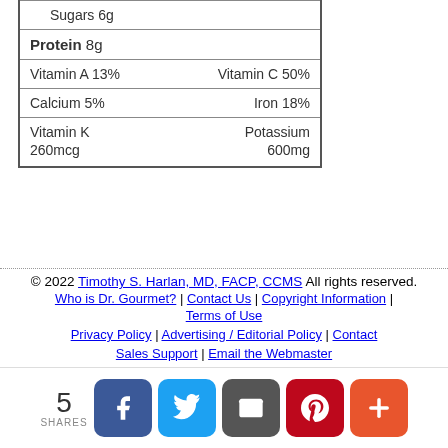| Sugars 6g |  |
| Protein 8g |  |
| Vitamin A 13% | Vitamin C 50% |
| Calcium 5% | Iron 18% |
| Vitamin K 260mcg | Potassium 600mg |
© 2022 Timothy S. Harlan, MD, FACP, CCMS All rights reserved. | Who is Dr. Gourmet? | Contact Us | Copyright Information | Terms of Use | Privacy Policy | Advertising / Editorial Policy | Contact Sales Support | Email the Webmaster
[Figure (infographic): Social share bar with 5 SHARES count and buttons for Facebook, Twitter, Email, Pinterest, and More (+)]